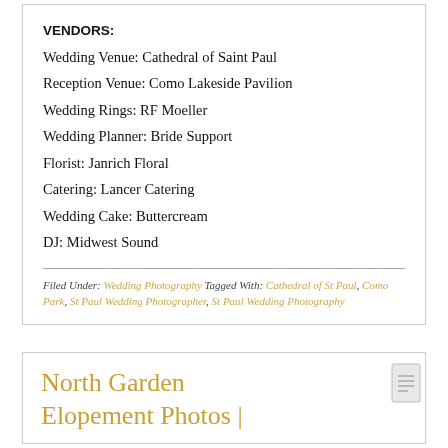VENDORS:
Wedding Venue: Cathedral of Saint Paul
Reception Venue: Como Lakeside Pavilion
Wedding Rings: RF Moeller
Wedding Planner: Bride Support
Florist: Janrich Floral
Catering: Lancer Catering
Wedding Cake: Buttercream
DJ: Midwest Sound
Filed Under: Wedding Photography Tagged With: Cathedral of St Paul, Como Park, St Paul Wedding Photographer, St Paul Wedding Photography
North Garden Elopement Photos |